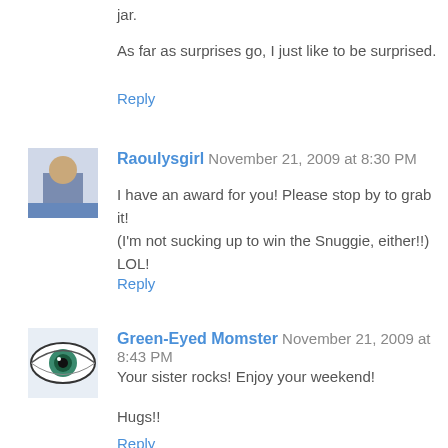jar.
As far as surprises go, I just like to be surprised.
Reply
Raoulysgirl  November 21, 2009 at 8:30 PM
[Figure (photo): Avatar photo of Raoulysgirl - person standing outdoors]
I have an award for you! Please stop by to grab it!
(I'm not sucking up to win the Snuggie, either!!) LOL!
Reply
[Figure (photo): Avatar image of Green-Eyed Momster - eye illustration]
Green-Eyed Momster  November 21, 2009 at 8:43 PM
Your sister rocks! Enjoy your weekend!
Hugs!!
Reply